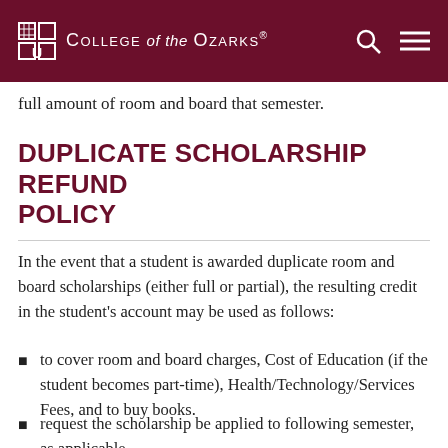COLLEGE of the OZARKS
full amount of room and board that semester.
DUPLICATE SCHOLARSHIP REFUND POLICY
In the event that a student is awarded duplicate room and board scholarships (either full or partial), the resulting credit in the student’s account may be used as follows:
to cover room and board charges, Cost of Education (if the student becomes part-time), Health/Technology/Services Fees, and to buy books.
request the scholarship be applied to following semester, as applicable.